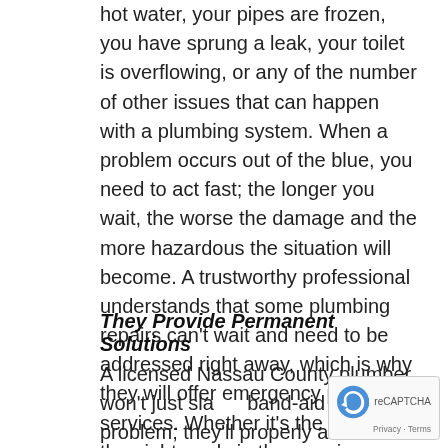hot water, your pipes are frozen, you have sprung a leak, your toilet is overflowing, or any of the number of other issues that can happen with a plumbing system. When a problem occurs out of the blue, you need to act fast; the longer you wait, the worse the damage and the more hazardous the situation will become. A trustworthy professional understands that some plumbing repairs can't wait and need to be addressed right away, which is why they will offer emergency plumbing services. Whether it's the middle of the night, early in the morning, a weekend, or even a holiday, a credible plumber will be at your location fast and will be able to have your plumbing back up and running in no time.
They Provide Permanent Solutions
A licensed Nassau County plumber won't just slap a band-aid on the problem; they'll properly address your plumbing repair and will offer lasting solutions.